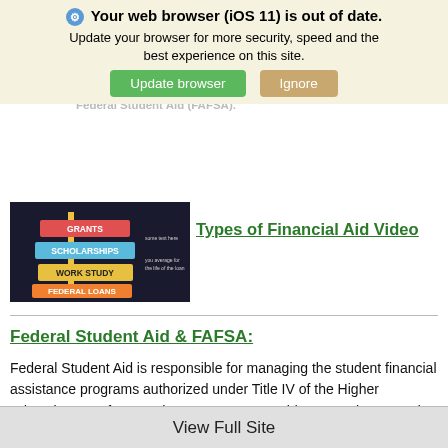⚙ Your web browser (iOS 11) is out of date. Update your browser for more security, speed and the best experience on this site.
contributions & transfer credits you completed the Free Application for Federal Student Aid (FAFSA).
[Figure (screenshot): Types of Financial Aid infographic thumbnail showing Grants, Scholarships, Work Study, Federal Loans as colored sign labels]
Types of Financial Aid Video
Federal Student Aid & FAFSA:
Federal Student Aid is responsible for managing the student financial assistance programs authorized under Title IV of the Higher Education Act of 1965. These programs provide grants, loans, and work-study funds to students attending college or career school.
To apply for federal student aid, you need to complete the FAFSA or Free Application for Federal Student Aid.
View Full Site